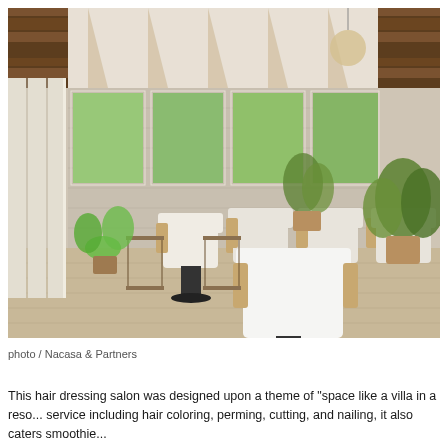[Figure (photo): Interior of a hair dressing salon with a resort villa theme. The space features white upholstered styling chairs with wooden armrests, large floor-to-ceiling mirrors framed in white, small metal-framed side tables, potted tropical plants, exposed wooden ceiling beams, and a rustic stone feature wall. Natural light enters through large windows. The flooring is light wood.]
photo / Nacasa & Partners
This hair dressing salon was designed upon a theme of "space like a villa in a reso... service including hair coloring, perming, cutting, and nailing, it also caters smoothie...